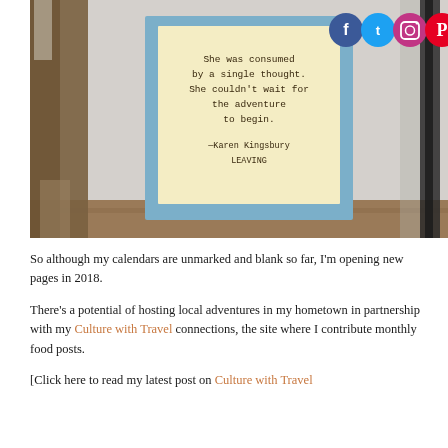[Figure (photo): A framed quote card mounted on a blue/gray frame against a light-colored wall background, with bare tree branches on the left and a dark pole on the right. The card reads: 'She was consumed by a single thought. She couldn't wait for the adventure to begin. —Karen Kingsbury LEAVING'. Social media icons (Facebook, Twitter, Instagram, Pinterest) are visible in the upper right corner.]
So although my calendars are unmarked and blank so far, I'm opening new pages in 2018.
There's a potential of hosting local adventures in my hometown in partnership with my Culture with Travel connections, the site where I contribute monthly food posts.
[Click here to read my latest post on Culture with Travel